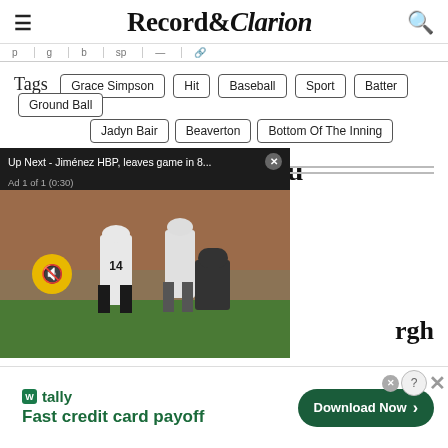Record&Clarion
Tags  Grace Simpson  Hit  Baseball  Sport  Batter  Ground Ball  Jadyn Bair  Beaverton  Bottom Of The Inning
[Figure (screenshot): Video overlay showing baseball players with 'Up Next - Jiménez HBP, leaves game in 8...' title bar, Ad 1 of 1 (0:30) label, muted audio button]
rgh
[Figure (other): Tally app advertisement: 'Fast credit card payoff' with green Download Now button]